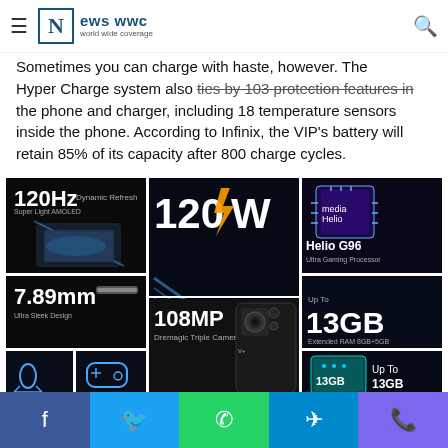News WWC - World Wide Coverage
Sometimes you can charge with haste, however. The Hyper Charge system also ties by 103 protection features in the phone and charger, including 18 temperature sensors inside the phone. According to Infinix, the VIP's battery will retain 85% of its capacity after 800 charge cycles.
[Figure (photo): Grid of Infinix phone feature images: 120Hz Dynamic Refresh Super Light AMOLED display, 120W Hyper Charge with 103 Protection Features, Helio G96 Ultra Gaming Processor, 7.89mm Ultra Sleek Design, Up To 13GB Extended RAM 8GB+5GB, Hands Free Multiple AI Voice Assist, Monster Game Kit Dual X-axis Linear Motor, 108MP Dremagic Triple Camera, 13GB chip image]
Facebook | Twitter | WhatsApp | Telegram | Phone